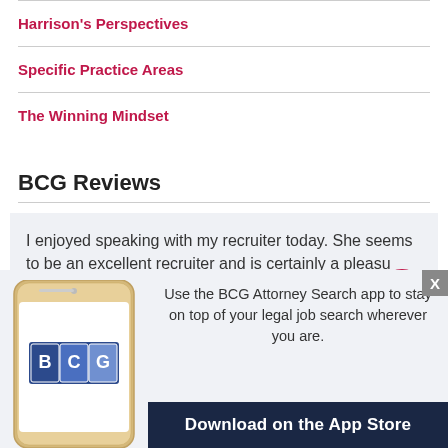Harrison's Perspectives
Specific Practice Areas
The Winning Mindset
BCG Reviews
I enjoyed speaking with my recruiter today. She seems to be an excellent recruiter and is certainly a pleasu...
Use the BCG Attorney Search app to stay on top of your legal job search wherever you are.
Download on the App Store